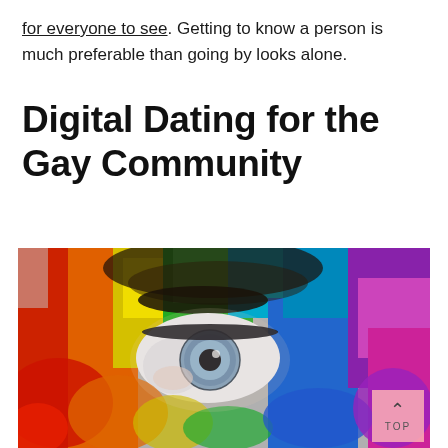for everyone to see. Getting to know a person is much preferable than going by looks alone.
Digital Dating for the Gay Community
[Figure (photo): Close-up photograph of a person's eye with a face painted in rainbow colors (red, orange, yellow, green, blue, purple) resembling LGBT pride colors. The eye is blue and visible through the colorful paint.]